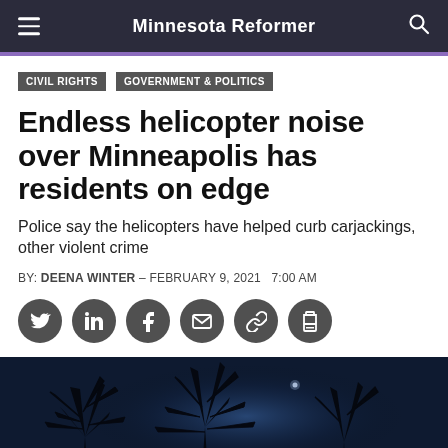Minnesota Reformer
CIVIL RIGHTS
GOVERNMENT & POLITICS
Endless helicopter noise over Minneapolis has residents on edge
Police say the helicopters have helped curb carjackings, other violent crime
BY: DEENA WINTER – FEBRUARY 9, 2021   7:00 AM
[Figure (photo): Night sky with bare tree silhouettes against deep blue moonlit sky, a small light visible through the branches]